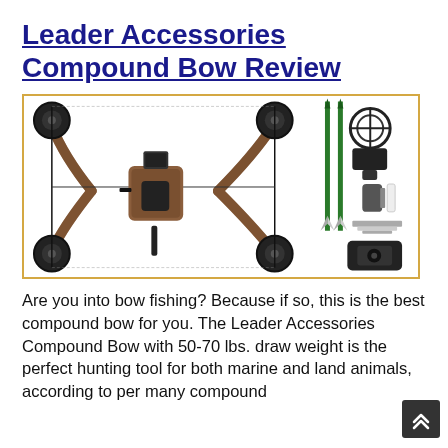Leader Accessories Compound Bow Review
[Figure (photo): Leader Accessories Compound Bow kit shown laid out, including the compound bow in camouflage finish with wheels/cams, and accessories including arrows, arrow rest, stabilizer, release aid, and other components.]
Are you into bow fishing? Because if so, this is the best compound bow for you. The Leader Accessories Compound Bow with 50-70 lbs. draw weight is the perfect hunting tool for both marine and land animals, according to per many compound